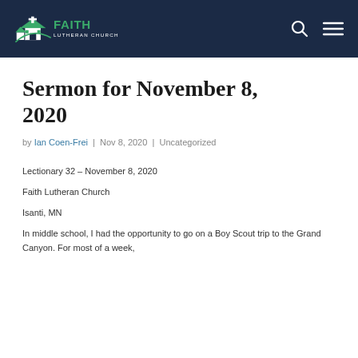Faith Lutheran Church
Sermon for November 8, 2020
by Ian Coen-Frei | Nov 8, 2020 | Uncategorized
Lectionary 32 – November 8, 2020
Faith Lutheran Church
Isanti, MN
In middle school, I had the opportunity to go on a Boy Scout trip to the Grand Canyon. For most of a week,